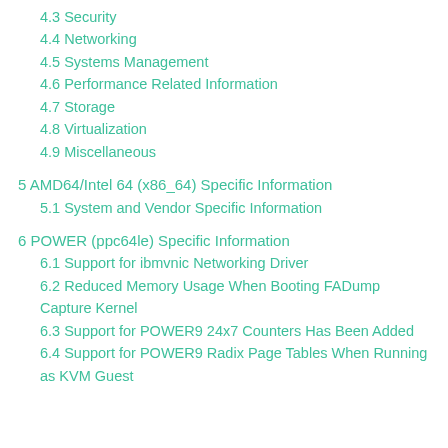4.3 Security
4.4 Networking
4.5 Systems Management
4.6 Performance Related Information
4.7 Storage
4.8 Virtualization
4.9 Miscellaneous
5 AMD64/Intel 64 (x86_64) Specific Information
5.1 System and Vendor Specific Information
6 POWER (ppc64le) Specific Information
6.1 Support for ibmvnic Networking Driver
6.2 Reduced Memory Usage When Booting FADump Capture Kernel
6.3 Support for POWER9 24x7 Counters Has Been Added
6.4 Support for POWER9 Radix Page Tables When Running as KVM Guest